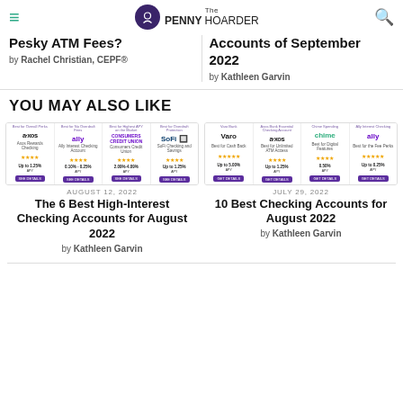The PENNY HOARDER
Pesky ATM Fees?
by Rachel Christian, CEPF®
Accounts of September 2022
by Kathleen Garvin
YOU MAY ALSO LIKE
[Figure (screenshot): Article card thumbnails showing checking account comparison cards for Axos, Ally, Consumers Credit Union, SoFi with rates like Up to 1.25% APY, 0.10%-0.25%, 2.09%-4.09%, Up to 1.25%]
AUGUST 12, 2022
The 6 Best High-Interest Checking Accounts for August 2022
by Kathleen Garvin
[Figure (screenshot): Article card thumbnails showing checking account comparison cards for Varo, Axos, Chime, Ally with rates like Up to 5.00% APY, Up to 1.25%, 0.50%, Up to 0.25%]
JULY 29, 2022
10 Best Checking Accounts for August 2022
by Kathleen Garvin